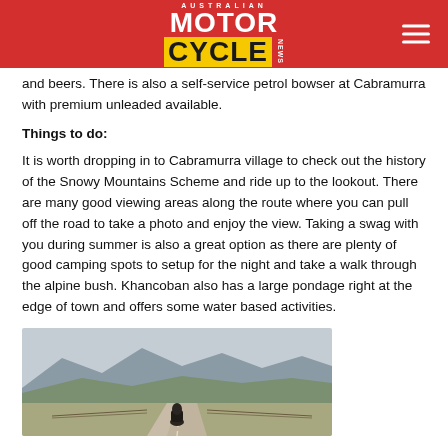Australian Motorcycle News
and beers. There is also a self-service petrol bowser at Cabramurra with premium unleaded available.
Things to do:
It is worth dropping in to Cabramurra village to check out the history of the Snowy Mountains Scheme and ride up to the lookout. There are many good viewing areas along the route where you can pull off the road to take a photo and enjoy the view. Taking a swag with you during summer is also a great option as there are plenty of good camping spots to setup for the night and take a walk through the alpine bush. Khancoban also has a large pondage right at the edge of town and offers some water based activities.
[Figure (photo): A motorcycle rider on a straight rural road through open farmland with hills in the background]